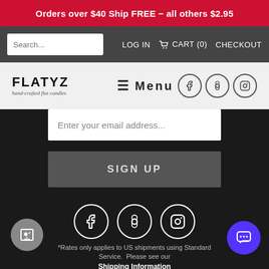Orders over $40 Ship FREE - all others $2.95
Search... | LOG IN | CART (0) | CHECKOUT
[Figure (logo): FLATYZ logo with tagline 'hand-crafted flat candles' and hamburger Menu button with Facebook, Pinterest, Instagram social icons]
Enter your email address...
SIGN UP
[Figure (infographic): Facebook, Pinterest, Instagram social icon circles in white on dark background]
*Rates only applies to US shipments using Standard Service.  Please see our Shipping Information